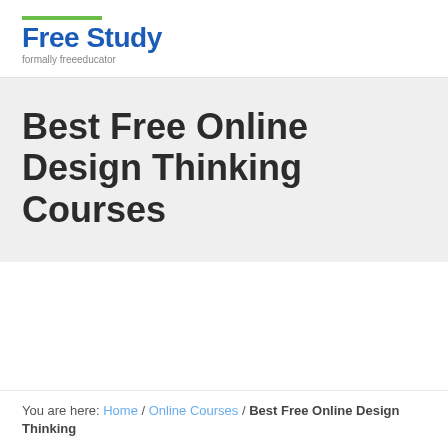[Figure (logo): Free Study logo with green accent bar above blue bold text 'Free Study' and grey subtitle 'formally freeeducator']
Best Free Online Design Thinking Courses
You are here: Home / Online Courses / Best Free Online Design Thinking